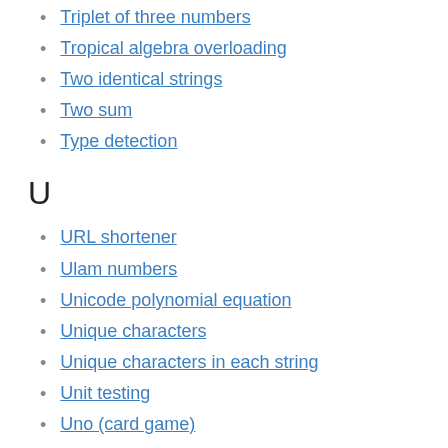Triplet of three numbers
Tropical algebra overloading
Two identical strings
Two sum
Type detection
U
URL shortener
Ulam numbers
Unicode polynomial equation
Unique characters
Unique characters in each string
Unit testing
Uno (card game)
Untrusted environment
Use a REST API
Useless instructions
User defined pipe and redirection operators
Using a speech engine to highlight words
V